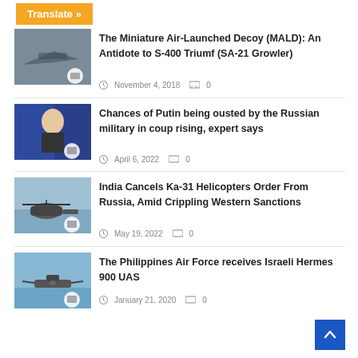Translate »
[Figure (photo): Thumbnail of military aircraft/missile hardware]
The Miniature Air-Launched Decoy (MALD): An Antidote to S-400 Triumf (SA-21 Growler)
November 4, 2018   0
[Figure (photo): Thumbnail of Putin at meeting]
Chances of Putin being ousted by the Russian military in coup rising, expert says
April 6, 2022   0
[Figure (photo): Thumbnail of Ka-31 helicopter]
India Cancels Ka-31 Helicopters Order From Russia, Amid Crippling Western Sanctions
May 19, 2022   0
[Figure (photo): Thumbnail of Hermes 900 UAS drone]
The Philippines Air Force receives Israeli Hermes 900 UAS
January 21, 2020   0